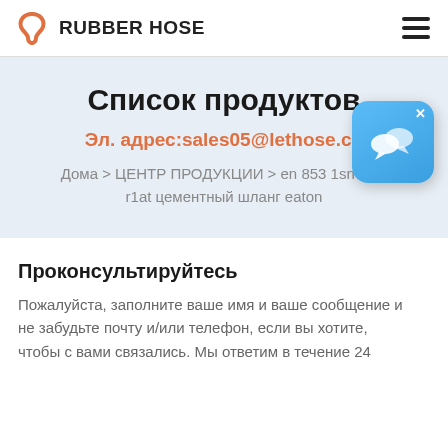RUBBER HOSE
Список продуктов
Эл. адрес:sales05@lethose.co
Дома > ЦЕНТР ПРОДУКЦИИ > en 853 1sn 12 s r1at цементный шланг eaton
[Figure (other): Chat support bubble icon overlay]
Проконсультируйтесь
Пожалуйста, заполните ваше имя и ваше сообщение и не забудьте почту и/или телефон, если вы хотите, чтобы с вами связались. Мы ответим в течение 24